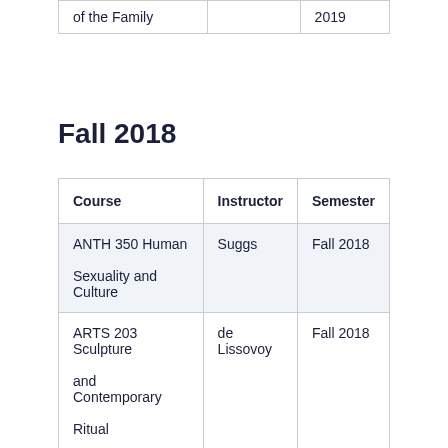| Course | Instructor | Semester |
| --- | --- | --- |
| of the Family |  | 2019 |
Fall 2018
| Course | Instructor | Semester |
| --- | --- | --- |
| ANTH 350 Human Sexuality and Culture | Suggs | Fall 2018 |
| ARTS 203 Sculpture and Contemporary Ritual | de Lissovoy | Fall 2018 |
| DRAM 291 LGBTQ | Rivers | Fall 2018 |